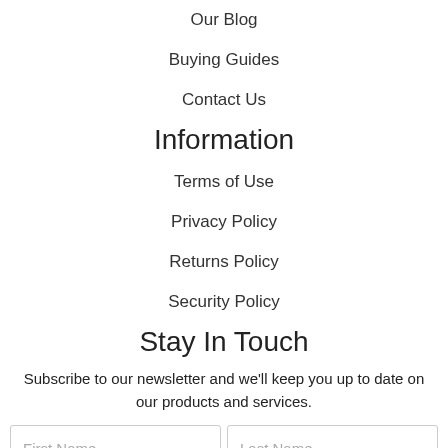Our Blog
Buying Guides
Contact Us
Information
Terms of Use
Privacy Policy
Returns Policy
Security Policy
Stay In Touch
Subscribe to our newsletter and we'll keep you up to date on our products and services.
First Name | Last Name (form fields)